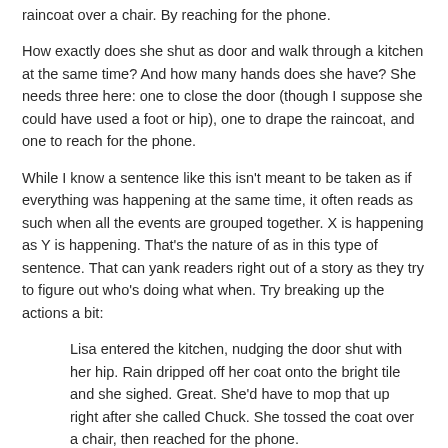raincoat over a chair. By reaching for the phone.
How exactly does she shut as door and walk through a kitchen at the same time? And how many hands does she have? She needs three here: one to close the door (though I suppose she could have used a foot or hip), one to drape the raincoat, and one to reach for the phone.
While I know a sentence like this isn't meant to be taken as if everything was happening at the same time, it often reads as such when all the events are grouped together. X is happening as Y is happening. That's the nature of as in this type of sentence. That can yank readers right out of a story as they try to figure out who's doing what when. Try breaking up the actions a bit:
Lisa entered the kitchen, nudging the door shut with her hip. Rain dripped off her coat onto the bright tile and she sighed. Great. She'd have to mop that up right after she called Chuck. She tossed the coat over a chair, then reached for the phone.